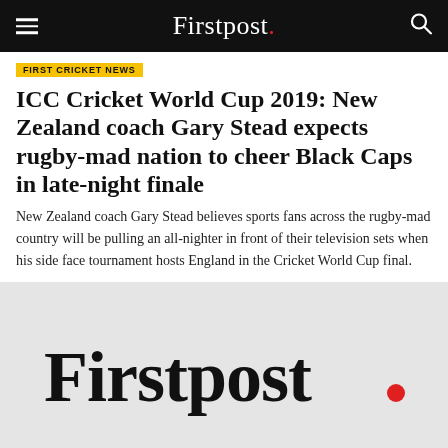Firstpost.
FIRST CRICKET NEWS
ICC Cricket World Cup 2019: New Zealand coach Gary Stead expects rugby-mad nation to cheer Black Caps in late-night finale
New Zealand coach Gary Stead believes sports fans across the rugby-mad country will be pulling an all-nighter in front of their television sets when his side face tournament hosts England in the Cricket World Cup final.
[Figure (logo): Firstpost logo in large black text on light grey background with red period]